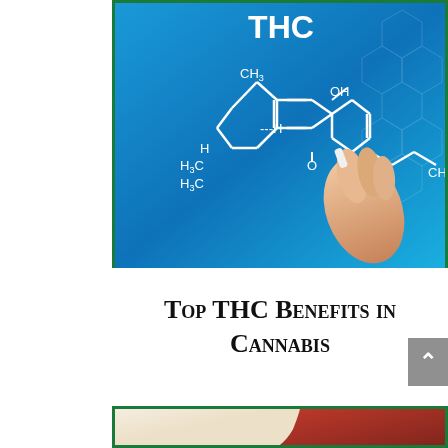[Figure (illustration): A hand writing the THC chemical structure (molecular diagram with CH3, OH, H, H3C, O groups) on a blue background with hexagonal pattern. The molecule is drawn in white lines.]
Top THC Benefits in Cannabis
[Figure (illustration): Partial view of an illustration showing a cream/beige and dark red shape, possibly a body part or abstract medical image, against a white background.]